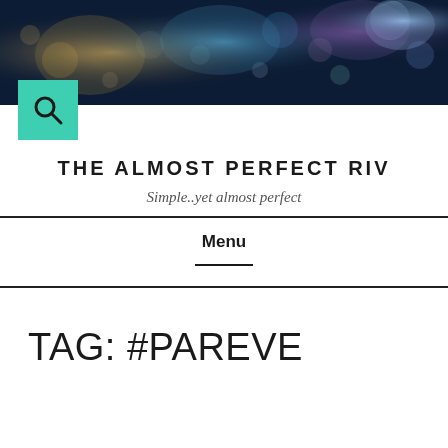[Figure (photo): Blurred bokeh city lights night scene banner image at top of page]
[Figure (other): Teal/turquoise square search icon button with magnifying glass symbol]
THE ALMOST PERFECT RIV
Simple..yet almost perfect
Menu
TAG: #PAREVE